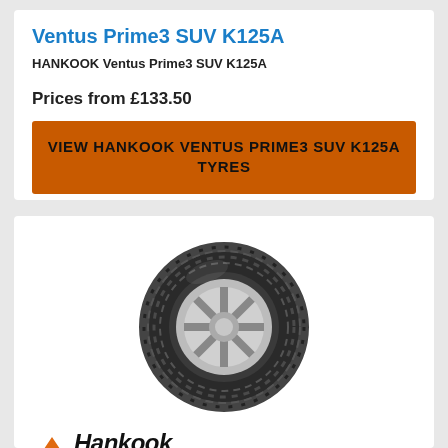Ventus Prime3 SUV K125A
HANKOOK Ventus Prime3 SUV K125A
Prices from £133.50
VIEW HANKOOK VENTUS PRIME3 SUV K125A TYRES
[Figure (photo): Photo of a Hankook tyre (Ventus S1 Evo 3 K127) shown at an angle, displaying tread pattern and silver alloy wheel rim.]
[Figure (logo): Hankook 'driving emotion' logo with orange wing/checkmark graphic and stylized italic text.]
Ventus S1 Evo 3 (K127)